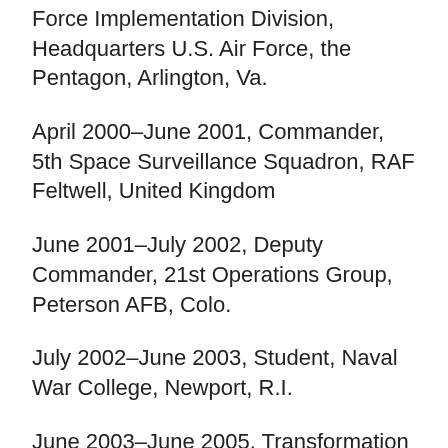Force Implementation Division, Headquarters U.S. Air Force, the Pentagon, Arlington, Va.
April 2000–June 2001, Commander, 5th Space Surveillance Squadron, RAF Feltwell, United Kingdom
June 2001–July 2002, Deputy Commander, 21st Operations Group, Peterson AFB, Colo.
July 2002–June 2003, Student, Naval War College, Newport, R.I.
June 2003–June 2005, Transformation Strategist, Office of Force Transformation, Office of the Secretary of Defense, the Pentagon